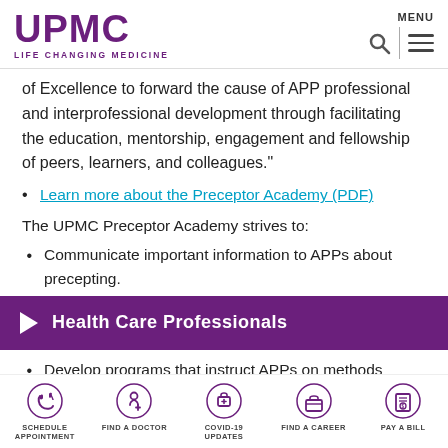UPMC LIFE CHANGING MEDICINE | MENU
of Excellence to forward the cause of APP professional and interprofessional development through facilitating the education, mentorship, engagement and fellowship of peers, learners, and colleagues."
Learn more about the Preceptor Academy (PDF)
The UPMC Preceptor Academy strives to:
Communicate important information to APPs about precepting.
Health Care Professionals
Develop programs that instruct APPs on methods
SCHEDULE APPOINTMENT | FIND A DOCTOR | COVID-19 UPDATES | FIND A CAREER | PAY A BILL